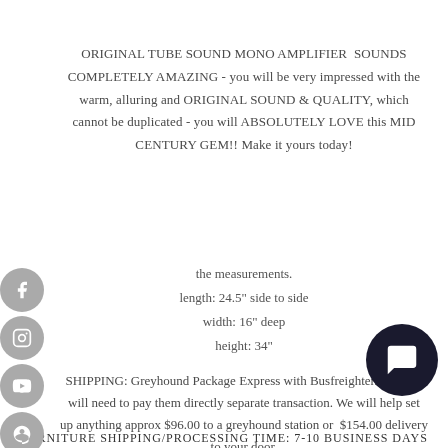ORIGINAL TUBE SOUND MONO AMPLIFIER SOUNDS COMPLETELY AMAZING - you will be very impressed with the warm, alluring and ORIGINAL SOUND & QUALITY, which cannot be duplicated - you will ABSOLUTELY LOVE this MID CENTURY GEM!! Make it yours today!
the measurements.
length: 24.5" side to side
width: 16" deep
height: 34"
SHIPPING: Greyhound Package Express with Busfreighter.com you will need to pay them directly separate transaction. We will help set up anything approx $96.00 to a greyhound station or $154.00 delivery to your door.
FURNITURE SHIPPING/PROCESSING TIME: 7-10 business days